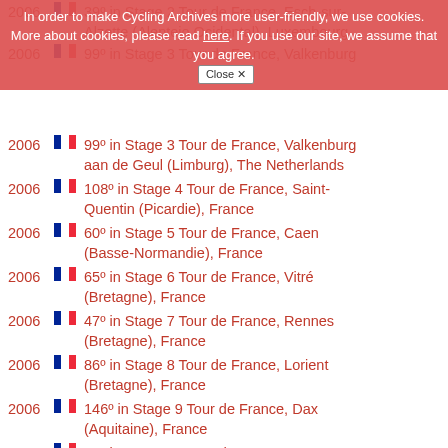In order to make Cycling Archives more user-friendly, we use cookies. More about cookies, please read here. If you use our site, we assume that you agree. [Close X]
2006 [France flag] 39º in Stage 2 Tour de France, Esch-sur-Alzette (Alentejo Ocidental), Luxembourg
2006 [France flag] 99º in Stage 3 Tour de France, Valkenburg aan de Geul (Limburg), The Netherlands
2006 [France flag] 108º in Stage 4 Tour de France, Saint-Quentin (Picardie), France
2006 [France flag] 60º in Stage 5 Tour de France, Caen (Basse-Normandie), France
2006 [France flag] 65º in Stage 6 Tour de France, Vitré (Bretagne), France
2006 [France flag] 47º in Stage 7 Tour de France, Rennes (Bretagne), France
2006 [France flag] 86º in Stage 8 Tour de France, Lorient (Bretagne), France
2006 [France flag] 146º in Stage 9 Tour de France, Dax (Aquitaine), France
2006 [France flag] 88º in Stage 10 Tour de France, Pau (Aquitaine), France
2006 [France flag] 82º in Stage 11 Tour de France, Pla de Beret (Cataluña), Spain
2006 [France flag] 119º in Stage 12 Tour de France, Carcassonne (Languedoc-Roussillon), France